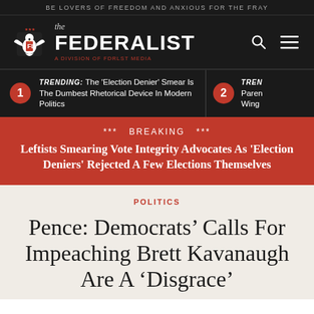BE LOVERS OF FREEDOM AND ANXIOUS FOR THE FRAY
[Figure (logo): The Federalist logo with eagle emblem, 'the FEDERALIST A DIVISION OF FDRLST MEDIA', search icon and hamburger menu icon on dark background]
TRENDING: The 'Election Denier' Smear Is The Dumbest Rhetorical Device In Modern Politics
TREN... Paren... Wing...
*** BREAKING *** Leftists Smearing Vote Integrity Advocates As 'Election Deniers' Rejected A Few Elections Themselves
POLITICS
Pence: Democrats' Calls For Impeaching Brett Kavanaugh Are A 'Disgrace'